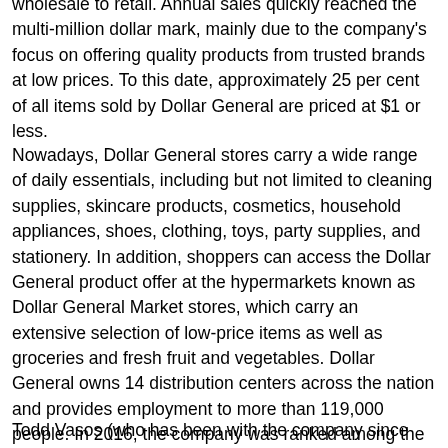wholesale to retail. Annual sales quickly reached the multi-million dollar mark, mainly due to the company's focus on offering quality products from trusted brands at low prices. To this date, approximately 25 per cent of all items sold by Dollar General are priced at $1 or less.
Nowadays, Dollar General stores carry a wide range of daily essentials, including but not limited to cleaning supplies, skincare products, cosmetics, household appliances, shoes, clothing, toys, party supplies, and stationery. In addition, shoppers can access the Dollar General product offer at the hypermarkets known as Dollar General Market stores, which carry an extensive selection of low-price items as well as groceries and fresh fruit and vegetables. Dollar General owns 14 distribution centers across the nation and provides employment to more than 119,000 people. In 2016, the company was ranked among the top 150 Fortune 500 companies.
Todd Vasos (who has been with the company since 2008) is the